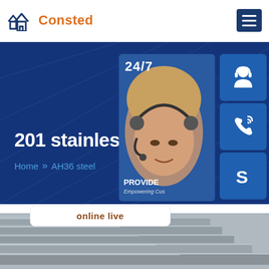Consted
201 stainless tube
Home >> AH36 steel
[Figure (screenshot): Customer support representative with headset, 24/7 service banner, with phone and Skype contact icons on right side, and 'online live' button at bottom. 'PROVIDE Empowering Cus...' text overlay.]
[Figure (photo): Stacked steel plates/sheets photographed from side angle showing layered metallic surfaces]